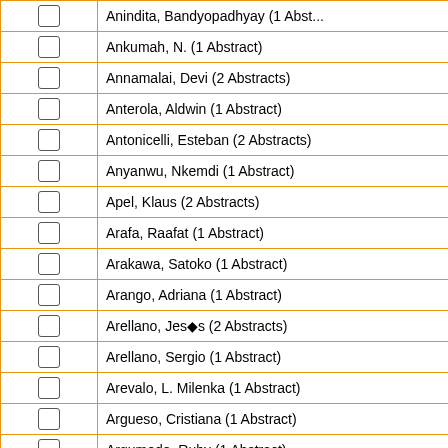|  | Name |
| --- | --- |
| ☐ | Anindita, Bandyopadhyay (1 Abstr... |
| ☐ | Ankumah, N. (1 Abstract) |
| ☐ | Annamalai, Devi (2 Abstracts) |
| ☐ | Anterola, Aldwin (1 Abstract) |
| ☐ | Antonicelli, Esteban (2 Abstracts) |
| ☐ | Anyanwu, Nkemdi (1 Abstract) |
| ☐ | Apel, Klaus (2 Abstracts) |
| ☐ | Arafa, Raafat (1 Abstract) |
| ☐ | Arakawa, Satoko (1 Abstract) |
| ☐ | Arango, Adriana (1 Abstract) |
| ☐ | Arellano, Jesús (2 Abstracts) |
| ☐ | Arellano, Sergio (1 Abstract) |
| ☐ | Arevalo, L. Milenka (1 Abstract) |
| ☐ | Argueso, Cristiana (1 Abstract) |
| ☐ | Argumedo, Ruby (1 Abstract) |
| ☐ | Argyris, Jason (1 Abstract) |
| ☐ | Argyros, D. Aaron (1 Abstract) |
| ☐ | Armstrong, Greg (2 Abstracts) |
| ☐ | Arnold, Marianne (1 Abstract) |
| ☐ | Arnold, Nicole (1 Abstract) |
| ☐ | Arturo, Charles (1 Abstract) |